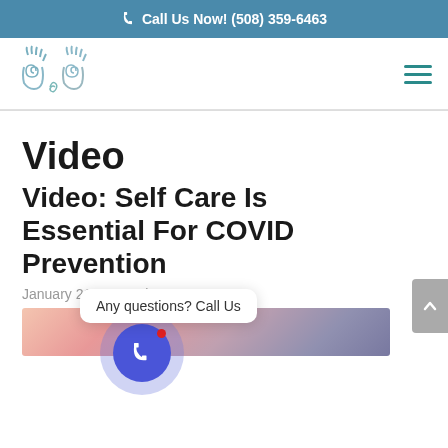Call Us Now! (508) 359-6463
[Figure (logo): Stylized hands with spiral palms logo in teal/blue tones]
Video
Video: Self Care Is Essential For COVID Prevention
January 21st, 2021 |
[Figure (photo): Thumbnail strip showing abstract pink and purple hair or feather-like image]
Any questions? Call Us